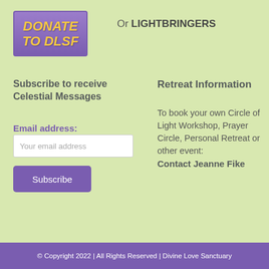[Figure (logo): Purple gradient button with italic bold yellow text reading DONATE TO DLSF]
Or LIGHTBRINGERS
Subscribe to receive Celestial Messages
Email address:
Your email address
Subscribe
Retreat Information
To book your own Circle of Light Workshop, Prayer Circle, Personal Retreat or other event: Contact Jeanne Fike
© Copyright 2022 | All Rights Reserved | Divine Love Sanctuary